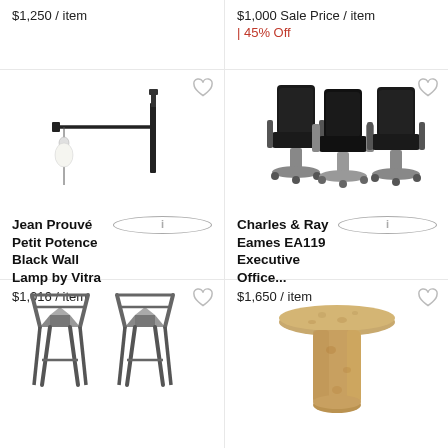$1,250 / item
$1,000 Sale Price / item
45% Off
[Figure (photo): Jean Prouvé Petit Potence Black Wall Lamp by Vitra — a black wall-mounted swing arm lamp with a bare bulb]
[Figure (photo): Charles & Ray Eames EA119 Executive Office chairs — three black executive office chairs on casters]
Jean Prouvé Petit Potence Black Wall Lamp by Vitra
$1,016 / item
Charles & Ray Eames EA119 Executive Office...
$1,650 / item
[Figure (photo): Two modern metal bar stools / chairs with angular frames]
[Figure (photo): Cork stool / side table — mushroom-shaped natural cork furniture]